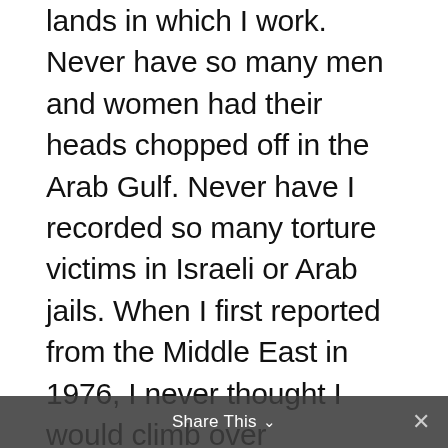lands in which I work. Never have so many men and women had their heads chopped off in the Arab Gulf. Never have I recorded so many torture victims in Israeli or Arab jails. When I first reported from the Middle East in 1976, I never thought I would climb over mountains of Palestinian corpses, slaughtered by Israel's allies as the Israeli army surrounded a Palestinian camp and watched. Not in my worst nightmares did I imagine walking into Algerian villages such as Bentalha to report the cutting of the throats of hundreds of old men, women, children and babies.
In The Independent last week, Mark Lattimer, Amnesty's communications director, wrote that the publication of evidence is often what
Share This